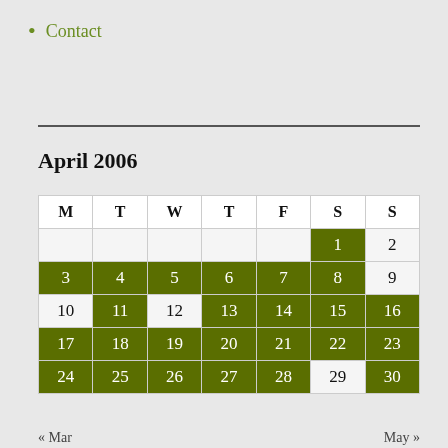Contact
April 2006
| M | T | W | T | F | S | S |
| --- | --- | --- | --- | --- | --- | --- |
|  |  |  |  |  | 1 | 2 |
| 3 | 4 | 5 | 6 | 7 | 8 | 9 |
| 10 | 11 | 12 | 13 | 14 | 15 | 16 |
| 17 | 18 | 19 | 20 | 21 | 22 | 23 |
| 24 | 25 | 26 | 27 | 28 | 29 | 30 |
« Mar    May »